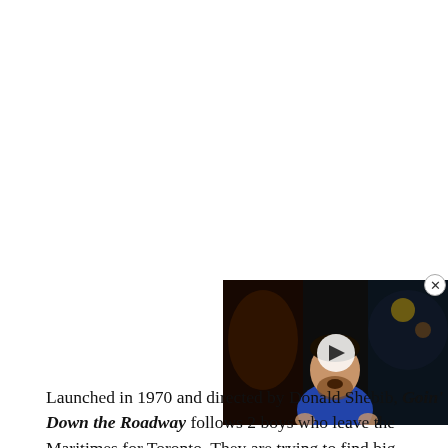[Figure (screenshot): A video player thumbnail showing a bearded man in a blue shirt with mouth open, against a dark background with colorful decorations. A white circular play button is overlaid in the center. A close (X) button appears at the top right of the video.]
Launched in 1970 and directed by Donald Shebib, Goin' Down the Roadway follows 2 boys who leave the Maritimes for Toronto. They are trying to find big